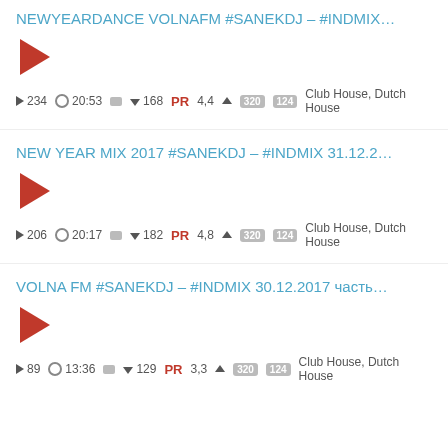NEWYEARDANCE VOLNAFM #SANEKDJ – #INDMIX…
[Figure (other): Red play button triangle]
▶ 234   🕐 20:53   💬   🎵 168   PR 4,4 ▲   320   124   Club House, Dutch House
NEW YEAR MIX 2017 #SANEKDJ – #INDMIX 31.12.2…
[Figure (other): Red play button triangle]
▶ 206   🕐 20:17   💬   🎵 182   PR 4,8 ▲   320   124   Club House, Dutch House
VOLNA FM #SANEKDJ – #INDMIX 30.12.2017 часть…
[Figure (other): Red play button triangle]
▶ 89   🕐 13:36   💬   🎵 129   PR 3,3 ▲   320   124   Club House, Dutch House